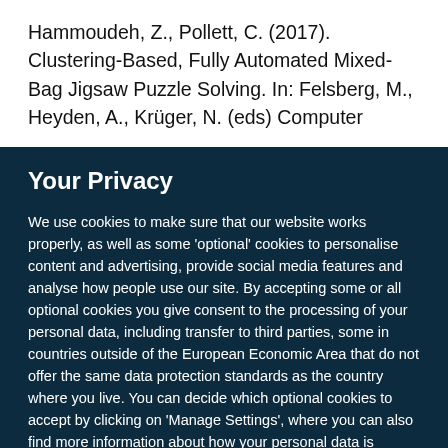Hammoudeh, Z., Pollett, C. (2017). Clustering-Based, Fully Automated Mixed-Bag Jigsaw Puzzle Solving. In: Felsberg, M., Heyden, A., Krüger, N. (eds) Computer
Your Privacy
We use cookies to make sure that our website works properly, as well as some 'optional' cookies to personalise content and advertising, provide social media features and analyse how people use our site. By accepting some or all optional cookies you give consent to the processing of your personal data, including transfer to third parties, some in countries outside of the European Economic Area that do not offer the same data protection standards as the country where you live. You can decide which optional cookies to accept by clicking on 'Manage Settings', where you can also find more information about how your personal data is processed. Further information can be found in our privacy policy.
Accept all cookies
Manage preferences